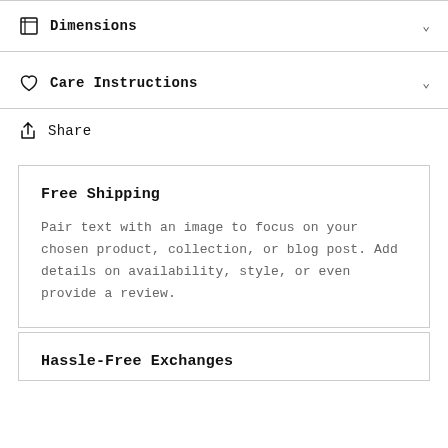Dimensions
Care Instructions
Share
Free Shipping
Pair text with an image to focus on your chosen product, collection, or blog post. Add details on availability, style, or even provide a review.
Hassle-Free Exchanges